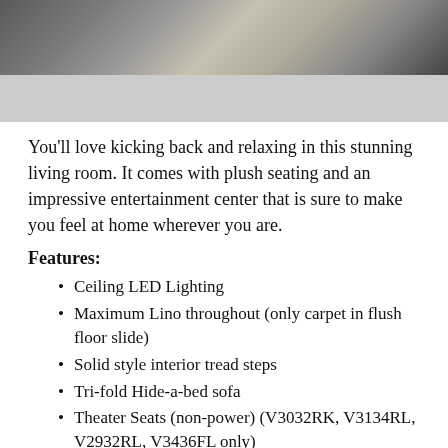[Figure (photo): Photo of a living room floor with herringbone pattern vinyl/lino flooring in grey tones, partially overlaid with a grey background placeholder area below.]
You'll love kicking back and relaxing in this stunning living room. It comes with plush seating and an impressive entertainment center that is sure to make you feel at home wherever you are.
Features:
Ceiling LED Lighting
Maximum Lino throughout (only carpet in flush floor slide)
Solid style interior tread steps
Tri-fold Hide-a-bed sofa
Theater Seats (non-power) (V3032RK, V3134RL, V2932RL, V3436FL only)